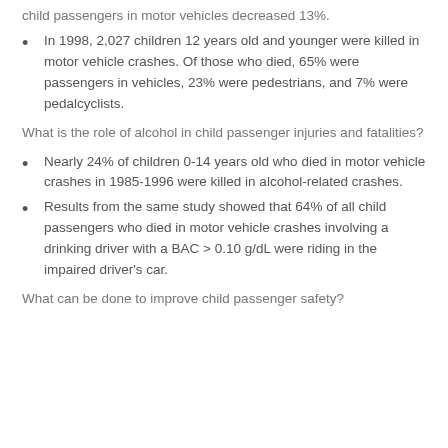child passengers in motor vehicles decreased 13%.
In 1998, 2,027 children 12 years old and younger were killed in motor vehicle crashes. Of those who died, 65% were passengers in vehicles, 23% were pedestrians, and 7% were pedalcyclists.
What is the role of alcohol in child passenger injuries and fatalities?
Nearly 24% of children 0-14 years old who died in motor vehicle crashes in 1985-1996 were killed in alcohol-related crashes.
Results from the same study showed that 64% of all child passengers who died in motor vehicle crashes involving a drinking driver with a BAC > 0.10 g/dL were riding in the impaired driver’s car.
What can be done to improve child passenger safety?